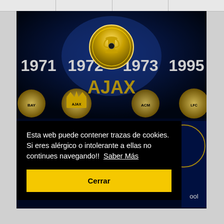[Figure (illustration): Dark blue/black banner image showing years 1971, 1972, 1973, 1995 with a golden UEFA Champions League trophy coin/medal in the center, and football club crests (Bayern, Ajax, ACM, Liverpool) along the bottom in gold]
Esta web puede contener trazas de cookies. Si eres alérgico o intolerante a ellas no continues navegando!!  Saber Más
Cerrar